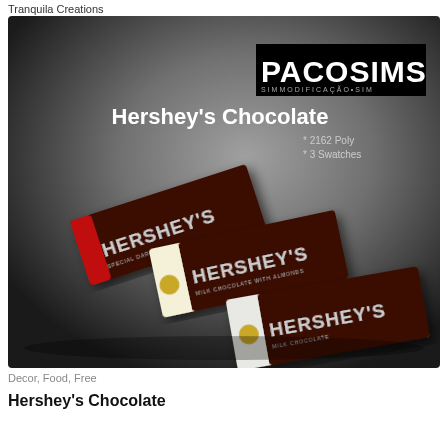Tranquila Creations
[Figure (illustration): Product promotional image on a dark gradient background showing three Hershey's chocolate bars (special dark with red wrapper, milk chocolate with almonds with cream/yellow wrapper, milk chocolate with silver/cream wrapper). PACOSIMS logo at top right, title 'Hershey's Chocolate', specs '* 2162 Poly * 3 Swatches']
Decor, Food, Free
Hershey's Chocolate